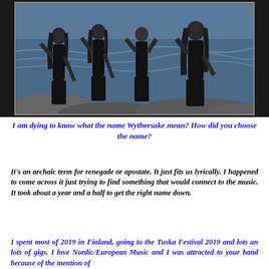[Figure (photo): Four band members in black t-shirts standing on rocky shore with choppy water behind them, making rock hand gestures]
I am dying to know what the name Wythersake mean?  How did you choose the name?
It's an archaic term for renegade or apostate.  It just fits us lyrically.  I happened to come across it just trying to find something that would connect to the music.  It took about a year and a half to get the right name down.
I spent most of 2019 in Finland, going to the Tuska Festival 2019 and lots an lots of gigs.  I love Nordic/European Music and I was attracted to your band because of the mention of